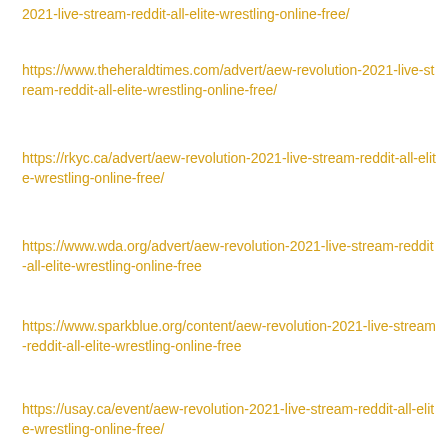2021-live-stream-reddit-all-elite-wrestling-online-free/
https://www.theheraldtimes.com/advert/aew-revolution-2021-live-stream-reddit-all-elite-wrestling-online-free/
https://rkyc.ca/advert/aew-revolution-2021-live-stream-reddit-all-elite-wrestling-online-free/
https://www.wda.org/advert/aew-revolution-2021-live-stream-reddit-all-elite-wrestling-online-free
https://www.sparkblue.org/content/aew-revolution-2021-live-stream-reddit-all-elite-wrestling-online-free
https://usay.ca/event/aew-revolution-2021-live-stream-reddit-all-elite-wrestling-online-free/